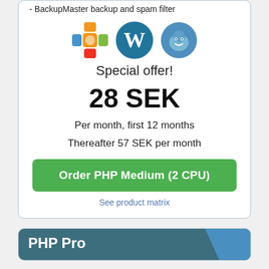- BackupMaster backup and spam filter
[Figure (logo): Three CMS logos: Joomla (orange/green), WordPress (blue W), Drupal (blue droplet)]
Special offer!
28 SEK
Per month, first 12 months
Thereafter 57 SEK per month
Order PHP Medium (2 CPU)
See product matrix
PHP Pro
[Figure (other): Blue diagonal banner with text BEST FOR S... 400%...]